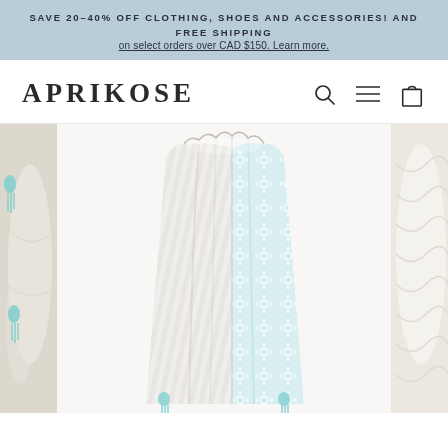SAVE 20-40% OFF CLOTHING, SHOES AND ACCESSORIES! AND FREE SHIPPING on select orders over CAD $150. Learn more.
APRIKOSE
[Figure (photo): Three-panel product display: left panel shows folded light textile with mint/teal tassel details, center panel shows a draped reversible blanket with light blue floral/geometric pattern on one side and white/gray stripes on the other, right panel shows white ruffled fabric. Center panel is white-background product photo.]